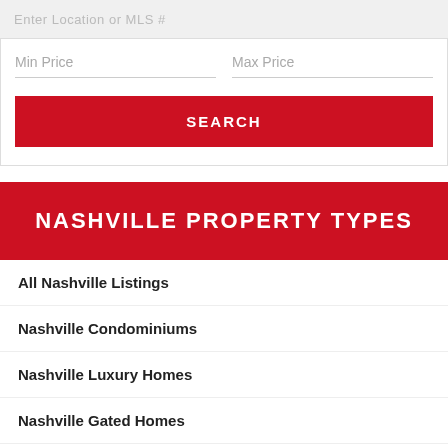Enter Location or MLS #
Min Price
Max Price
SEARCH
NASHVILLE PROPERTY TYPES
All Nashville Listings
Nashville Condominiums
Nashville Luxury Homes
Nashville Gated Homes
Nashville Golf Course Homes